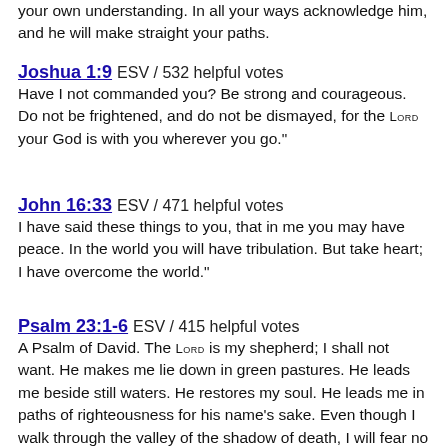your own understanding. In all your ways acknowledge him, and he will make straight your paths.
Joshua 1:9 ESV / 532 helpful votes
Have I not commanded you? Be strong and courageous. Do not be frightened, and do not be dismayed, for the LORD your God is with you wherever you go."
John 16:33 ESV / 471 helpful votes
I have said these things to you, that in me you may have peace. In the world you will have tribulation. But take heart; I have overcome the world."
Psalm 23:1-6 ESV / 415 helpful votes
A Psalm of David. The LORD is my shepherd; I shall not want. He makes me lie down in green pastures. He leads me beside still waters. He restores my soul. He leads me in paths of righteousness for his name's sake. Even though I walk through the valley of the shadow of death, I will fear no evil, for you are with me; your rod and your staff, they comfort me. You prepare a table before me in the presence of my enemies; you anoint my head with oil; my cup overflows.